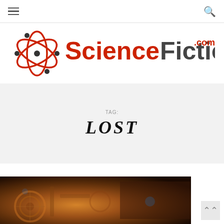Navigation bar with hamburger menu and search icon
[Figure (logo): ScienceFiction.com logo with atom graphic and stylized text]
TAG: LOST
[Figure (photo): Article thumbnail image showing a sci-fi scene with warm brown/orange tones]